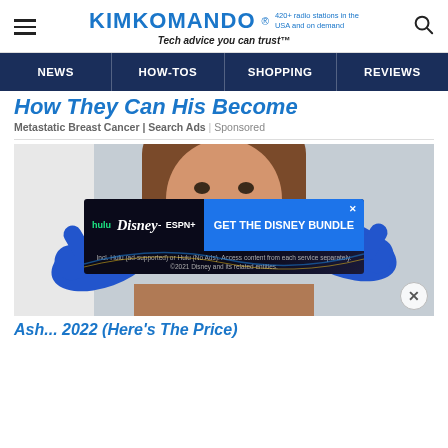KIMKOMANDO® 420+ radio stations in the USA and on demand Tech advice you can trust™
NEWS | HOW-TOS | SHOPPING | REVIEWS
How They Can His Become
Metastatic Breast Cancer | Search Ads | Sponsored
[Figure (photo): A smiling young woman with brown hair at a dental office; a dentist wearing blue gloves examines her teeth.]
[Figure (screenshot): Disney Bundle advertisement banner: hulu, Disney+, ESPN+ logos with 'GET THE DISNEY BUNDLE' call-to-action button. Fine print: Incl. Hulu (ad-supported) or Hulu (No Ads). Access content from each service separately. ©2021 Disney and its related entities.]
Ash... 2022 (Here's The Price)